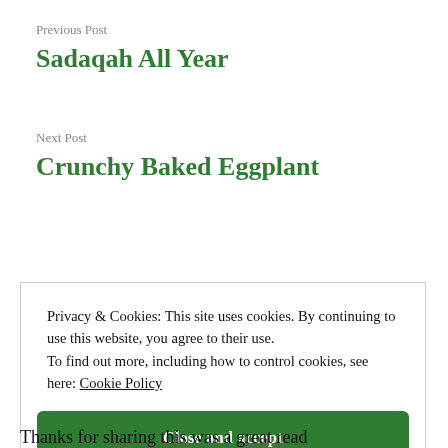Previous Post
Sadaqah All Year
Next Post
Crunchy Baked Eggplant
Privacy & Cookies: This site uses cookies. By continuing to use this website, you agree to their use. To find out more, including how to control cookies, see here: Cookie Policy
Close and accept
Thanks for sharing this was a great read